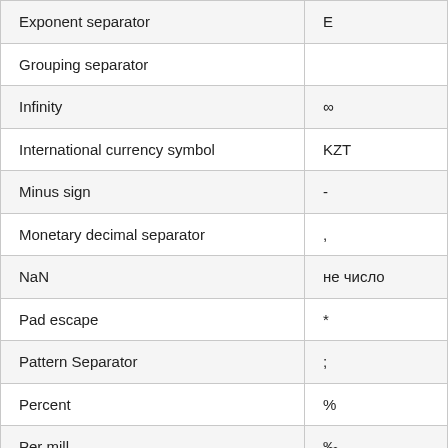|  |  |
| --- | --- |
| Exponent separator | E |
| Grouping separator |  |
| Infinity | ∞ |
| International currency symbol | KZT |
| Minus sign | - |
| Monetary decimal separator | , |
| NaN | не число |
| Pad escape | * |
| Pattern Separator | ; |
| Percent | % |
| Per mill | ‰ |
| Plus sign | + |
|  |  |